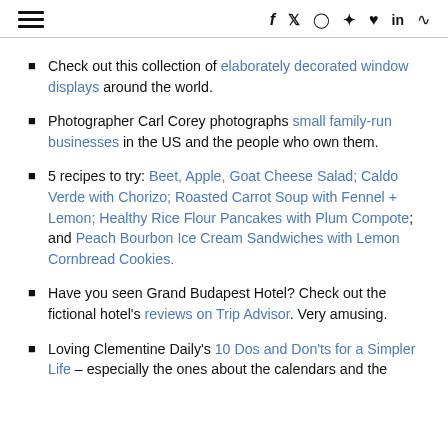[hamburger menu] [social icons: f, twitter, instagram, pinterest, heart, in, rss]
Check out this collection of elaborately decorated window displays around the world.
Photographer Carl Corey photographs small family-run businesses in the US and the people who own them.
5 recipes to try: Beet, Apple, Goat Cheese Salad; Caldo Verde with Chorizo; Roasted Carrot Soup with Fennel + Lemon; Healthy Rice Flour Pancakes with Plum Compote; and Peach Bourbon Ice Cream Sandwiches with Lemon Cornbread Cookies.
Have you seen Grand Budapest Hotel? Check out the fictional hotel's reviews on Trip Advisor. Very amusing.
Loving Clementine Daily's 10 Dos and Don'ts for a Simpler Life – especially the ones about the calendars and the